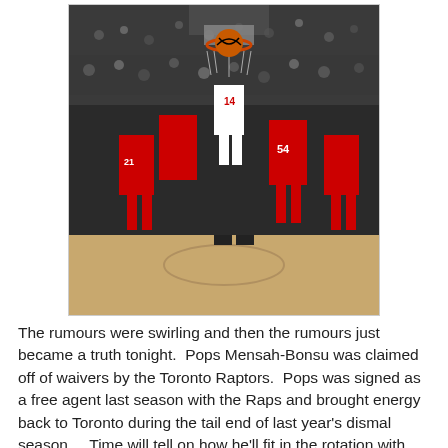[Figure (photo): Basketball game action photo showing a player dunking while surrounded by players in red uniforms (Chicago Bulls). Player #54 and player #14 are visible. The arena crowd is in the background.]
The rumours were swirling and then the rumours just became a truth tonight.  Pops Mensah-Bonsu was claimed off of waivers by the Toronto Raptors.  Pops was signed as a free agent last season with the Raps and brought energy back to Toronto during the tail end of last year's dismal season.   Time will tell on how he'll fit in the rotation with Reggie Evans, Amir Johnson and Rasho Nesterovic coming off of the bench but he's definitely a great addition to the